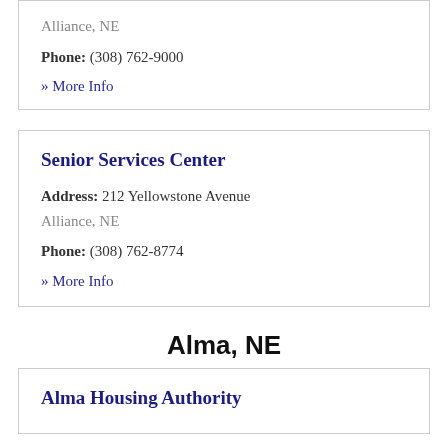Alliance, NE
Phone: (308) 762-9000
» More Info
Senior Services Center
Address: 212 Yellowstone Avenue
Alliance, NE
Phone: (308) 762-8774
» More Info
Alma, NE
Alma Housing Authority